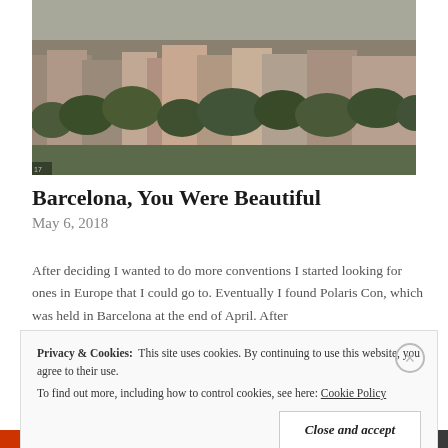[Figure (photo): Aerial/elevated view of Barcelona cityscape showing rooftops, buildings, and trees, taken from a hillside vantage point. Overcast sky.]
Barcelona, You Were Beautiful
May 6, 2018
After deciding I wanted to do more conventions I started looking for ones in Europe that I could go to. Eventually I found Polaris Con, which was held in Barcelona at the end of April. After
Privacy & Cookies:  This site uses cookies. By continuing to use this website, you agree to their use.
To find out more, including how to control cookies, see here: Cookie Policy
Close and accept